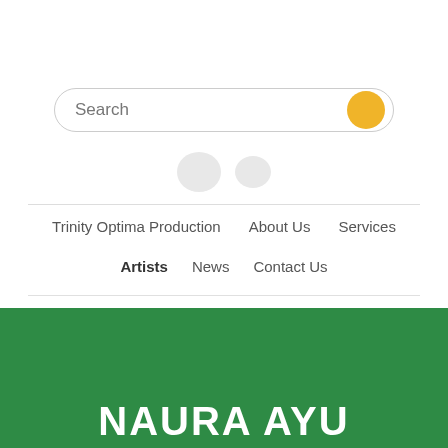[Figure (screenshot): Search bar with rounded rectangle border and yellow circular button on the right showing 'Search' placeholder text]
[Figure (other): Two small rounded social media icon placeholders in light gray]
Trinity Optima Production   About Us   Services
Artists   News   Contact Us
NAURA AYU